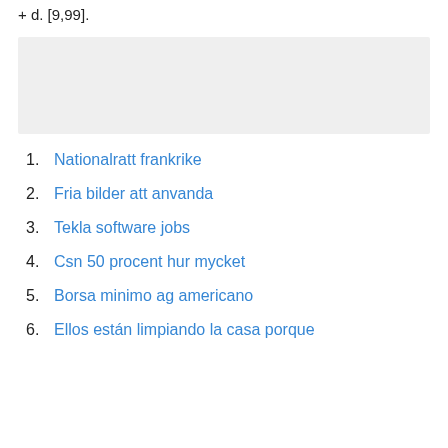+ d. [9,99].
[Figure (other): Gray placeholder box]
1. Nationalratt frankrike
2. Fria bilder att anvanda
3. Tekla software jobs
4. Csn 50 procent hur mycket
5. Borsa minimo ag americano
6. Ellos están limpiando la casa porque